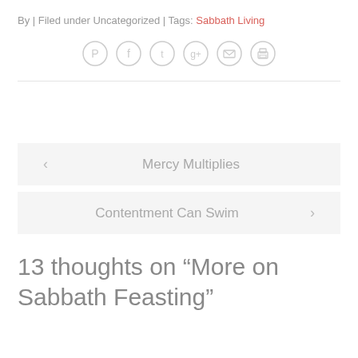By | Filed under Uncategorized | Tags: Sabbath Living
[Figure (other): Row of 6 social sharing icon circles (Pinterest, Facebook, Twitter, Google+, Email, Print) in light grey]
< Mercy Multiplies
Contentment Can Swim >
13 thoughts on “More on Sabbath Feasting”